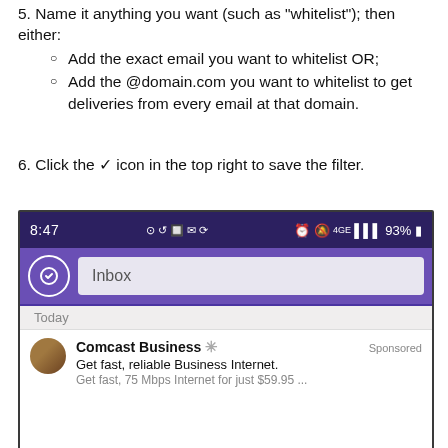5. Name it anything you want (such as "whitelist"); then either:
Add the exact email you want to whitelist OR;
Add the @domain.com you want to whitelist to get deliveries from every email at that domain.
6. Click the ✓ icon in the top right to save the filter.
[Figure (screenshot): Mobile email app screenshot showing status bar with time 8:47 and 93% battery, purple app bar with Inbox search, Today section header, and a sponsored Comcast Business email advertisement.]